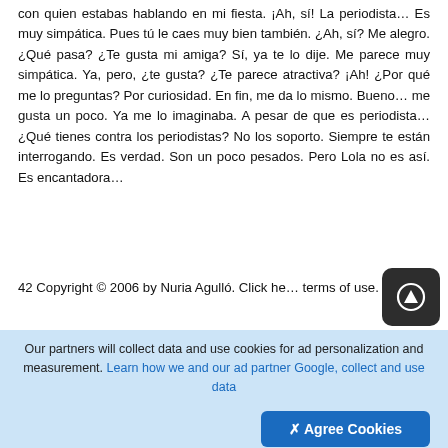con quien estabas hablando en mi fiesta. ¡Ah, sí! La periodista… Es muy simpática. Pues tú le caes muy bien también. ¿Ah, sí? Me alegro. ¿Qué pasa? ¿Te gusta mi amiga? Sí, ya te lo dije. Me parece muy simpática. Ya, pero, ¿te gusta? ¿Te parece atractiva? ¡Ah! ¿Por qué me lo preguntas? Por curiosidad. En fin, me da lo mismo. Bueno… me gusta un poco. Ya me lo imaginaba. A pesar de que es periodista… ¿Qué tienes contra los periodistas? No los soporto. Siempre te están interrogando. Es verdad. Son un poco pesados. Pero Lola no es así. Es encantadora…
42 Copyright © 2006 by Nuria Agulló. Click here for terms of use.
Mark. Pili. Mark. Pili. Mark. Pili. Mark. Pili. Mark. Pili. Mark.
Our partners will collect data and use cookies for ad personalization and measurement. Learn how we and our ad partner Google, collect and use data